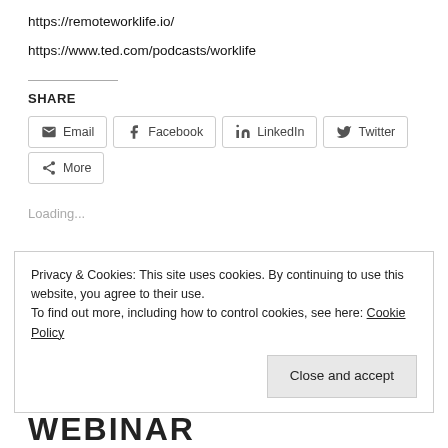https://remoteworklife.io/
https://www.ted.com/podcasts/worklife
SHARE
Email | Facebook | LinkedIn | Twitter | More
Loading...
Privacy & Cookies: This site uses cookies. By continuing to use this website, you agree to their use.
To find out more, including how to control cookies, see here: Cookie Policy
Close and accept
WEBINAR